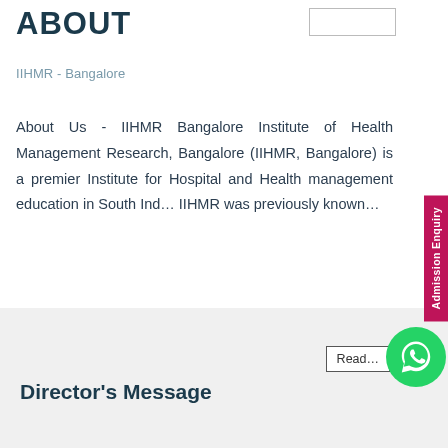ABOUT
IIHMR - Bangalore
About Us - IIHMR Bangalore Institute of Health Management Research, Bangalore (IIHMR, Bangalore) is a premier Institute for Hospital and Health management education in South Ind... IIHMR was previously known...
Director's Message
Admission Enquiry
Read...